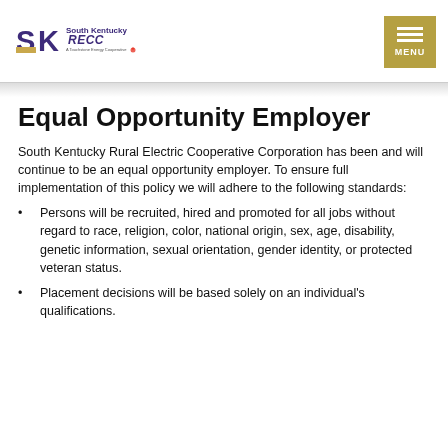[Figure (logo): South Kentucky RECC logo with SK letters in purple and gold, tagline 'A Touchstone Energy Cooperative']
Equal Opportunity Employer
South Kentucky Rural Electric Cooperative Corporation has been and will continue to be an equal opportunity employer. To ensure full implementation of this policy we will adhere to the following standards:
Persons will be recruited, hired and promoted for all jobs without regard to race, religion, color, national origin, sex, age, disability, genetic information, sexual orientation, gender identity, or protected veteran status.
Placement decisions will be based solely on an individual's qualifications.